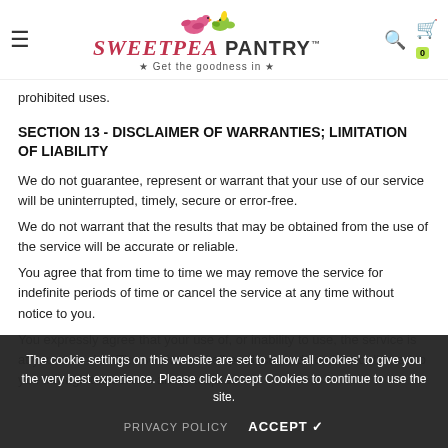SweetPea Pantry — Get the goodness in
prohibited uses.
SECTION 13 - DISCLAIMER OF WARRANTIES; LIMITATION OF LIABILITY
We do not guarantee, represent or warrant that your use of our service will be uninterrupted, timely, secure or error-free.
We do not warrant that the results that may be obtained from the use of the service will be accurate or reliable.
You agree that from time to time we may remove the service for indefinite periods of time or cancel the service at any time without notice to you.
You expressly agree that your use of, or inability to use, the service is at your sole risk. The service and all products and services delivered to you through the service are (except as
The cookie settings on this website are set to 'allow all cookies' to give you the very best experience. Please click Accept Cookies to continue to use the site.
PRIVACY POLICY   ACCEPT ✔